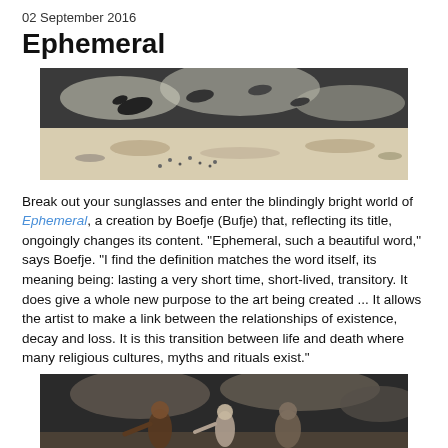02 September 2016
Ephemeral
[Figure (illustration): Wide horizontal digital illustration showing birds and figures in a bright, bleached landscape with dark sky.]
Break out your sunglasses and enter the blindingly bright world of Ephemeral, a creation by Boefje (Bufje) that, reflecting its title, ongoingly changes its content. "Ephemeral, such a beautiful word," says Boefje. "I find the definition matches the word itself, its meaning being: lasting a very short time, short-lived, transitory. It does give a whole new purpose to the art being created ... It allows the artist to make a link between the relationships of existence, decay and loss. It is this transition between life and death where many religious cultures, myths and rituals exist."
[Figure (illustration): Wide horizontal digital illustration showing three figures in a dark dramatic landscape.]